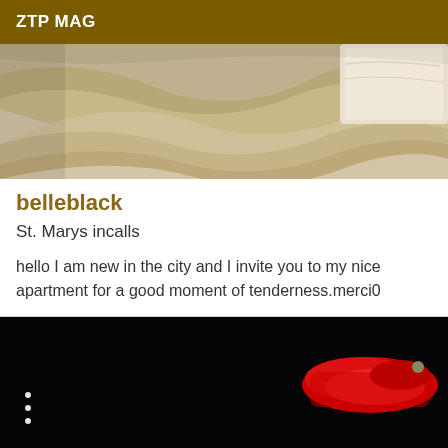ZTP MAG
[Figure (photo): Photo of a bed with rumpled white/beige sheets and pillows]
belleblack
St. Marys incalls
hello I am new in the city and I invite you to my nice apartment for a good moment of tenderness.merci0
[Figure (photo): Dark background image with red hand-like shapes and a red redacted object in the upper right corner, with three white dots on the left side]